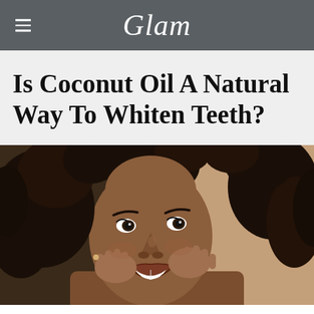Glam
Is Coconut Oil A Natural Way To Whiten Teeth?
[Figure (photo): Close-up photo of a smiling young Black woman with curly hair, holding her hands to her cheeks, showing white teeth. Warm beige/tan background.]